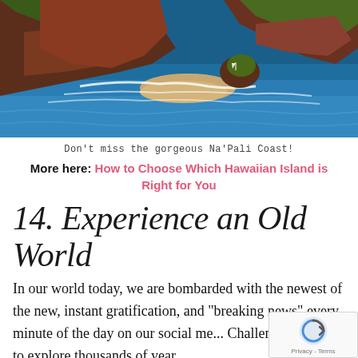[Figure (photo): Aerial view of Na'Pali Coast, Hawaii, showing dramatic red-brown cliffs meeting deep blue ocean waters with white surf, and a sandy beach cove]
Don't miss the gorgeous Na'Pali Coast!
More here: How to Choose Which Hawaiian Island is Right for You
14. Experience an Old World
In our world today, we are bombarded with the newest of the new, instant gratification, and "breaking news" every minute of the day on our social me... Challenge yourself to explore thousands of year...